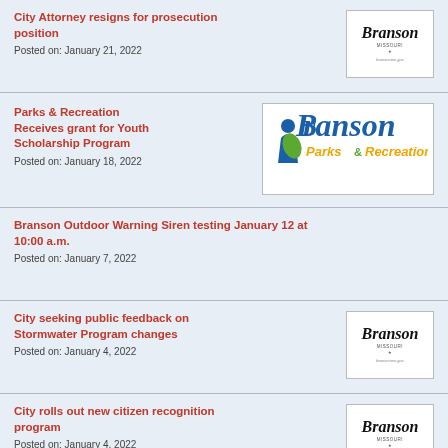City Attorney resigns for prosecution position
Posted on: January 21, 2022
Parks & Recreation Receives grant for Youth Scholarship Program
Posted on: January 18, 2022
Branson Outdoor Warning Siren testing January 12 at 10:00 a.m.
Posted on: January 7, 2022
City seeking public feedback on Stormwater Program changes
Posted on: January 4, 2022
City rolls out new citizen recognition program
Posted on: January 4, 2022